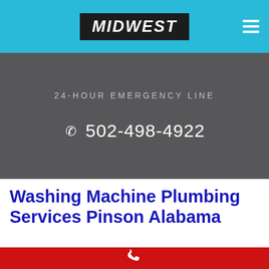[Figure (logo): Midwest logo in black box with white italic text on cyan header bar]
24-HOUR EMERGENCY LINE
✆ 502-498-4922
Washing Machine Plumbing Services Pinson Alabama
[Figure (illustration): White phone handset icon on red background bar]